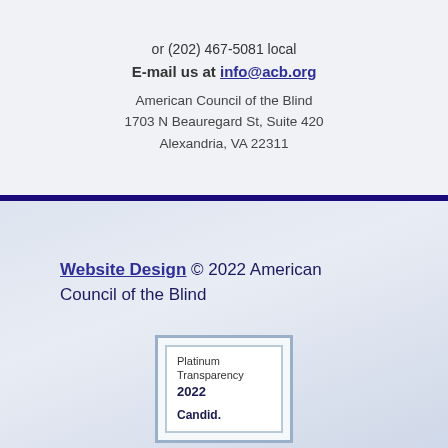or (202) 467-5081 local
E-mail us at info@acb.org
American Council of the Blind
1703 N Beauregard St, Suite 420
Alexandria, VA 22311
Website Design © 2022 American Council of the Blind
[Figure (other): Platinum Transparency 2022 Candid. badge/seal]